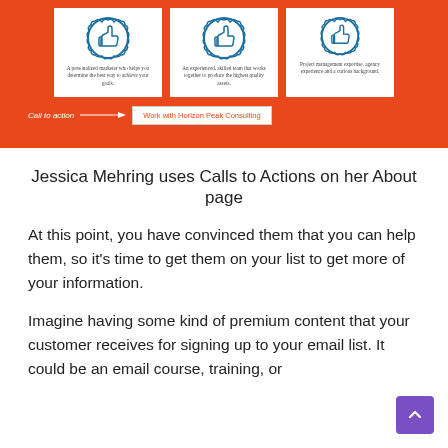[Figure (screenshot): Screenshot of a website (Horizon Peak Consulting) with an orange background, three white cards each showing a thumbs-up badge icon and small descriptive text, a 'Call to action' label with arrow, and a 'Work with Horizon Peak Consulting' button.]
Jessica Mehring uses Calls to Actions on her About page
At this point, you have convinced them that you can help them, so it's time to get them on your list to get more of your information.
Imagine having some kind of premium content that your customer receives for signing up to your email list. It could be an email course, training, or